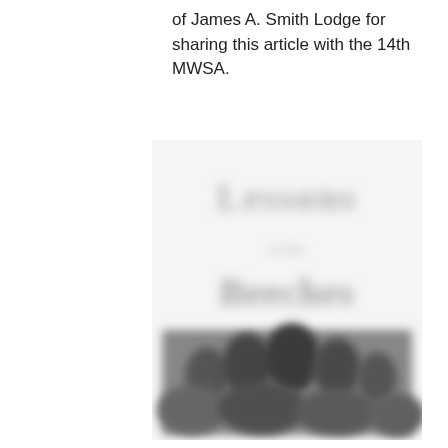of James A. Smith Lodge for sharing this article with the 14th MWSA.
[Figure (illustration): Blurred book cover showing large decorative text (likely a title) in two lines with smaller text between them, and a black-and-white photograph of a group of people at the bottom of the cover.]